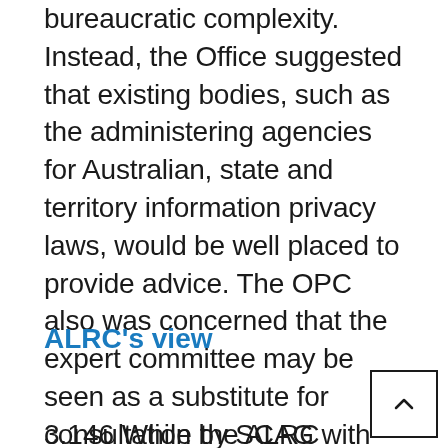bureaucratic complexity. Instead, the Office suggested that existing bodies, such as the administering agencies for Australian, state and territory information privacy laws, would be well placed to provide advice. The OPC also was concerned that the expert committee may be seen as a substitute for consultation by SCAG with relevant stakeholders on information privacy issues.[165]
ALRC's view
3.146 While the ALRC agrees that the